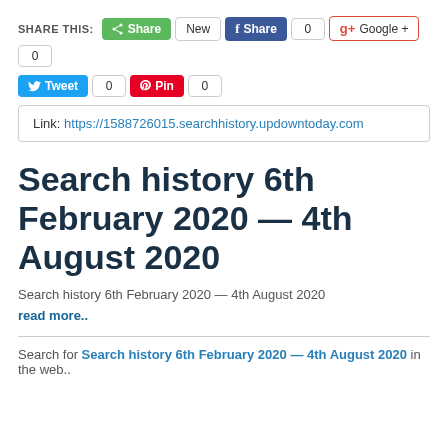SHARE THIS: Share | New | f Share | 0 | g+ Google + | 0 | Tweet | 0 | Pin | 0
Link: https://1588726015.searchhistory.updowntoday.com
Search history 6th February 2020 — 4th August 2020
Search history 6th February 2020 — 4th August 2020
read more..
Search for Search history 6th February 2020 — 4th August 2020 in the web..